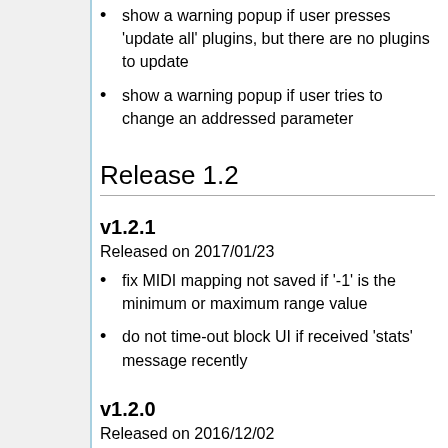show a warning popup if user presses 'update all' plugins, but there are no plugins to update
show a warning popup if user tries to change an addressed parameter
Release 1.2
v1.2.1
Released on 2017/01/23
fix MIDI mapping not saved if '-1' is the minimum or maximum range value
do not time-out block UI if received 'stats' message recently
v1.2.0
Released on 2016/12/02
fix not all check boxes problem...